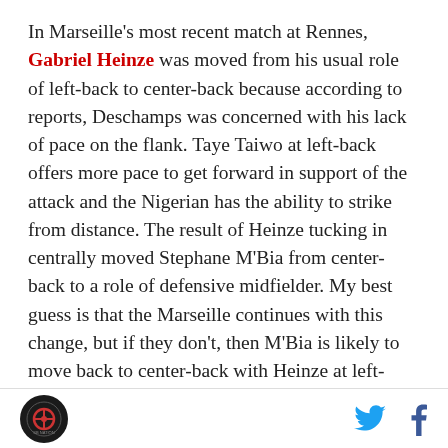In Marseille's most recent match at Rennes, Gabriel Heinze was moved from his usual role of left-back to center-back because according to reports, Deschamps was concerned with his lack of pace on the flank. Taye Taiwo at left-back offers more pace to get forward in support of the attack and the Nigerian has the ability to strike from distance. The result of Heinze tucking in centrally moved Stephane M'Bia from center-back to a role of defensive midfielder. My best guess is that the Marseille continues with this change, but if they don't, then M'Bia is likely to move back to center-back with Heinze at left-back. Further up the pitch, Lucho Gonzalez will be featured centrally in a play-making role. The only question remains as to where
[logo] [twitter] [facebook]